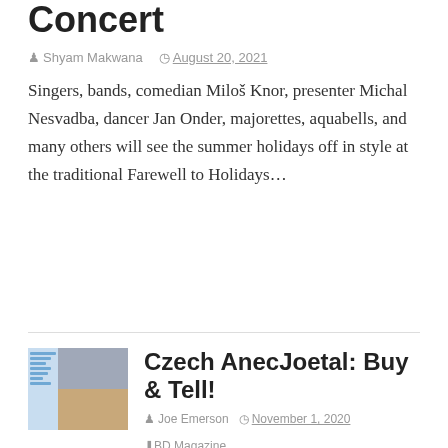Concert
Shyam Makwana   August 20, 2021
Singers, bands, comedian Miloš Knor, presenter Michal Nesvadba, dancer Jan Onder, majorettes, aquabells, and many others will see the summer holidays off in style at the traditional Farewell to Holidays…
[Figure (screenshot): Thumbnail screenshot of a social media or website page with grid of images]
Czech AnecJoetal: Buy & Tell!
Joe Emerson   November 1, 2020   BD Magazine
Among the many delights of Brno-based social media you can find numerous groups devoted to the sale of second-hand stuff. The beauty of second-hand shopping is that every item has…